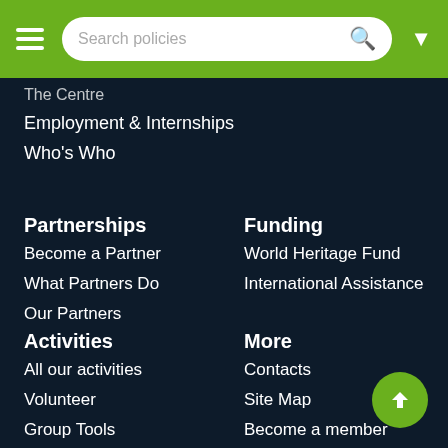Search policies
The Centre
Employment & Internships
Who's Who
Partnerships
Become a Partner
What Partners Do
Our Partners
Funding
World Heritage Fund
International Assistance
Activities
All our activities
Volunteer
Group Tools
More
Contacts
Site Map
Become a member
Donate Now!
Publications
World Heritage Review
Series
Resource Manuals
World Heritage wall map